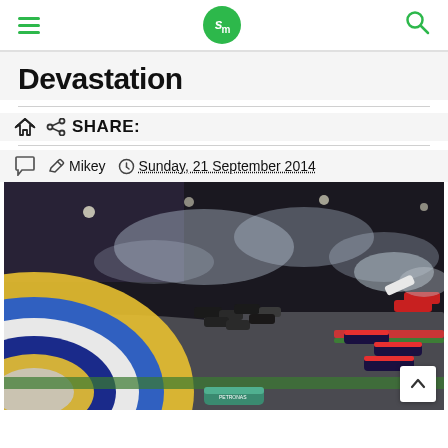sm (logo) — navigation header with hamburger menu and search
Devastation
SHARE:
Mikey — Sunday, 21 September 2014
[Figure (photo): Formula 1 race crash scene at night on a street circuit, multiple cars involved in an accident with smoke and debris, colorful curb markings visible on the track]